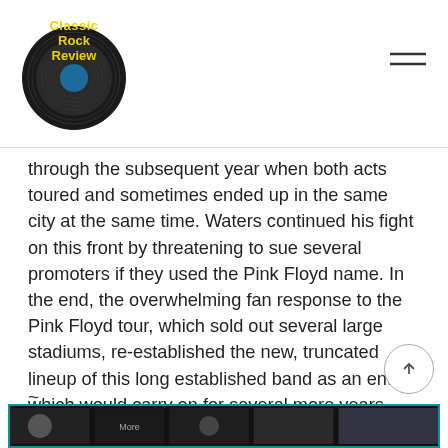Classic Rock Review
through the subsequent year when both acts toured and sometimes ended up in the same city at the same time. Waters continued his fight on this front by threatening to sue several promoters if they used the Pink Floyd name. In the end, the overwhelming fan response to the Pink Floyd tour, which sold out several large stadiums, re-established the new, truncated lineup of this long established band as an entity, which would carry on for several more years.
~
[Figure (photo): Bottom strip showing band photos with 'More' label]